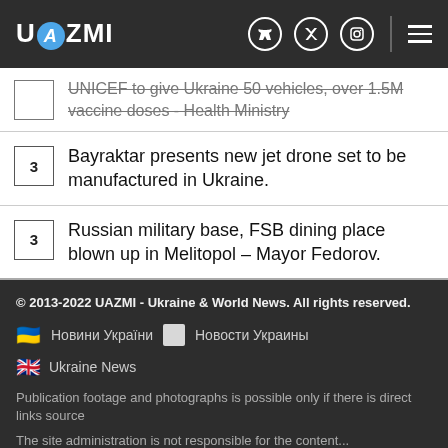UAZMI
UNICEF to give Ukraine 50 vehicles, over 1.5M vaccine doses - Health Ministry
Bayraktar presents new jet drone set to be manufactured in Ukraine.
Russian military base, FSB dining place blown up in Melitopol – Mayor Fedorov.
© 2013-2022 UAZMI - Ukraine & World News. All rights reserved. Новини України  Новости Украины  Ukraine News  Publication footage and photographs is possible only if there is direct links source  The site administration is not responsible for the content...